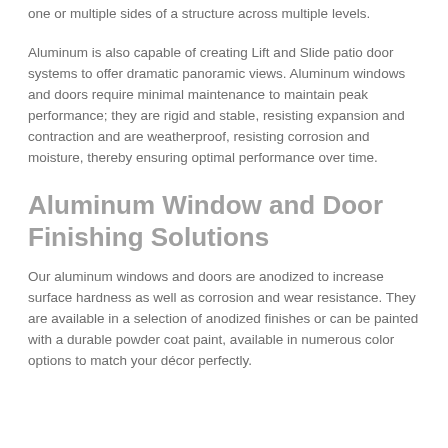one or multiple sides of a structure across multiple levels.
Aluminum is also capable of creating Lift and Slide patio door systems to offer dramatic panoramic views. Aluminum windows and doors require minimal maintenance to maintain peak performance; they are rigid and stable, resisting expansion and contraction and are weatherproof, resisting corrosion and moisture, thereby ensuring optimal performance over time.
Aluminum Window and Door Finishing Solutions
Our aluminum windows and doors are anodized to increase surface hardness as well as corrosion and wear resistance. They are available in a selection of anodized finishes or can be painted with a durable powder coat paint, available in numerous color options to match your décor perfectly.